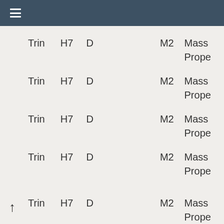≡
| Trin | H7 | D |  | M2 | Mass Prope |
| --- | --- | --- | --- | --- | --- |
| Trin | H7 | D |  | M2 | Mass
Prope |
| Trin | H7 | D |  | M2 | Mass
Prope |
| Trin | H7 | D |  | M2 | Mass
Prope |
| Trin | H7 | D |  | M2 | Mass
Prope |
| Trin | H7 | D |  | M2 | Mass
Prope |
| Trin | H7 | D |  | M2 | Mass
Prope |